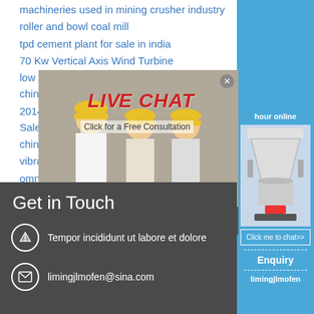machineries used in mining crusher industry
roller and bowl coal mill
tpd cement plant for sale in india
70 Kw Vertical Axis Wind Turbine
low power consumption spring cone crusher from china
2014 Hot Sale Copper Ore Flotation Machine For Sale
china m... hour online
vibrating...
omnicc...
[Figure (screenshot): Live chat popup overlay with photo of workers in hard hats, LIVE CHAT text in red italic, 'Click for a Free Consultation', Chat now (red) and Chat later (grey) buttons]
Get in Touch
Tempor incididunt ut labore et dolore
limingjlmofen@sina.com
[Figure (screenshot): Right sidebar with blue background showing 'hour online', cone crusher machine image, 'Click me to chat>>' button, 'Enquiry' label, dashed line, 'limingjlmofen' text]